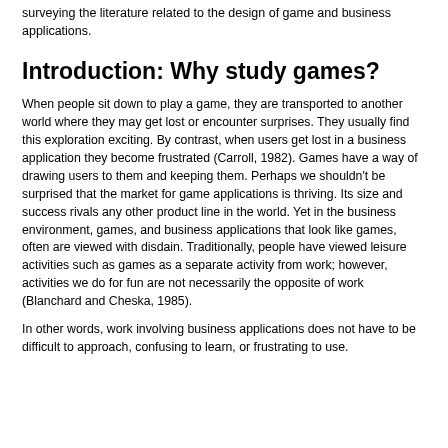surveying the literature related to the design of game and business applications.
Introduction: Why study games?
When people sit down to play a game, they are transported to another world where they may get lost or encounter surprises. They usually find this exploration exciting. By contrast, when users get lost in a business application they become frustrated (Carroll, 1982). Games have a way of drawing users to them and keeping them. Perhaps we shouldn't be surprised that the market for game applications is thriving. Its size and success rivals any other product line in the world. Yet in the business environment, games, and business applications that look like games, often are viewed with disdain. Traditionally, people have viewed leisure activities such as games as a separate activity from work; however, activities we do for fun are not necessarily the opposite of work (Blanchard and Cheska, 1985).
In other words, work involving business applications does not have to be difficult to approach, confusing to learn, or frustrating to use.